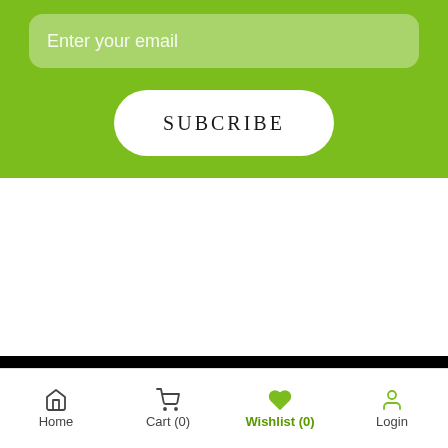Enter your email
SUBCRIBE
Home   Cart (0)   Wishlist (0)   Login